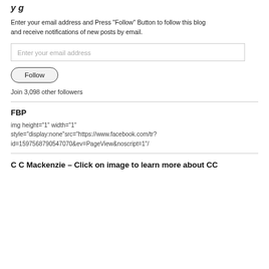y g
Enter your email address and Press "Follow" Button to follow this blog and receive notifications of new posts by email.
[Figure (other): Email input field with placeholder text 'Enter your email address']
[Figure (other): Follow button with rounded border]
Join 3,098 other followers
FBP
img height="1" width="1" style="display:none"src="https://www.facebook.com/tr?id=1597568790547070&ev=PageView&noscript=1"/
C C Mackenzie – Click on image to learn more about CC